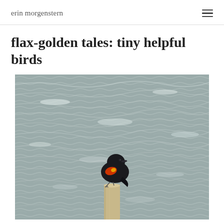erin morgenstern
flax-golden tales: tiny helpful birds
[Figure (photo): A black red-winged blackbird perched on top of a wooden post, with rippling water in the background]